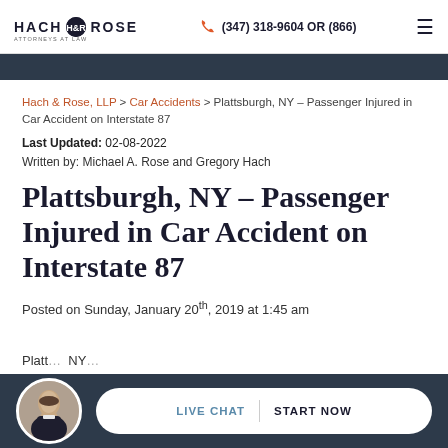HACH & ROSE ATTORNEYS AT LAW | (347) 318-9604 OR (866)
Hach & Rose, LLP > Car Accidents > Plattsburgh, NY – Passenger Injured in Car Accident on Interstate 87
Last Updated: 02-08-2022
Written by: Michael A. Rose and Gregory Hach
Plattsburgh, NY – Passenger Injured in Car Accident on Interstate 87
Posted on Sunday, January 20th, 2019 at 1:45 am
[Figure (photo): Circular avatar photo of a man in a suit, displayed in the bottom bar]
LIVE CHAT   START NOW